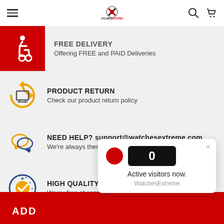[Figure (screenshot): WatchesExtreme website navigation bar with hamburger menu, logo, search and cart icons]
FREE DELIVERY
Offering FREE and PAID Deliveries
PRODUCT RETURN
Check our product return policy
NEED HELP? support@watchesextreme.com
We're always there for you
HIGH QUALITY WATCHES AND ACCESSORIES
Worry-free shopping
ADD
[Figure (infographic): Active visitors popup showing red dot, count of 0, text 'Active visitors now.' and 'WatchesExtreme']